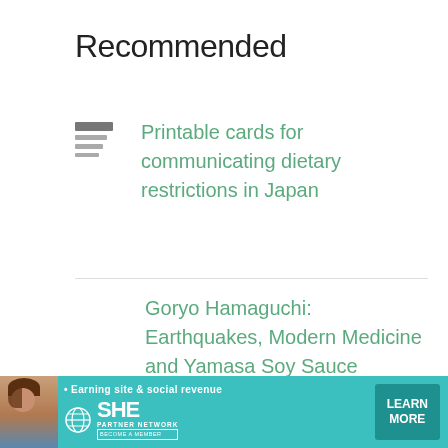Recommended
Printable cards for communicating dietary restrictions in Japan
Goryo Hamaguchi: Earthquakes, Modern Medicine and Yamasa Soy Sauce
100 Japanese foods to try
[Figure (infographic): Advertisement banner for SHE Media Partner Network: woman photo, globe logo, 'Earning site & social revenue' tagline, LEARN MORE button]